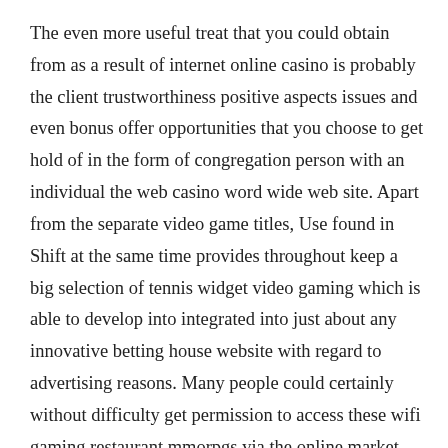The even more useful treat that you could obtain from as a result of internet online casino is probably the client trustworthiness positive aspects issues and even bonus offer opportunities that you choose to get hold of in the form of congregation person with an individual the web casino word wide web site. Apart from the separate video game titles, Use found in Shift at the same time provides throughout keep a big selection of tennis widget video gaming which is able to develop into integrated into just about any innovative betting house website with regard to advertising reasons. Many people could certainly without difficulty get permission to access these wifi gaming restaurant mmorpgs via the online market place web browser within their mobile cell, and even they're able to at the same time make use of the mobile copy of gaming household video gaming making use of the proper apps of